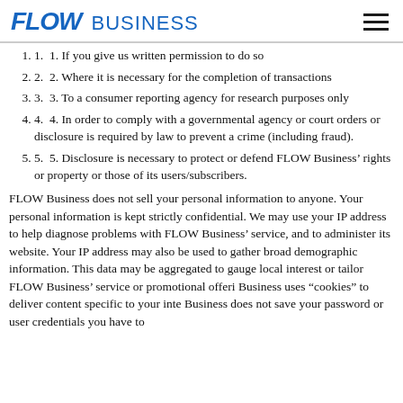FLOW BUSINESS
1. If you give us written permission to do so
2. Where it is necessary for the completion of transactions
3. To a consumer reporting agency for research purposes only
4. In order to comply with a governmental agency or court orders or disclosure is required by law to prevent a crime (including fraud).
5. Disclosure is necessary to protect or defend FLOW Business' rights or property or those of its users/subscribers.
FLOW Business does not sell your personal information to anyone. Your personal information is kept strictly confidential. We may use your IP address to help diagnose problems with FLOW Business' service, and to administer its website. Your IP address may also be used to gather broad demographic information. This data may be aggregated to gauge local interest or tailor FLOW Business' service or promotional offerings. FLOW Business uses "cookies" to deliver content specific to your interests. FLOW Business does not save your password or user credentials you have to